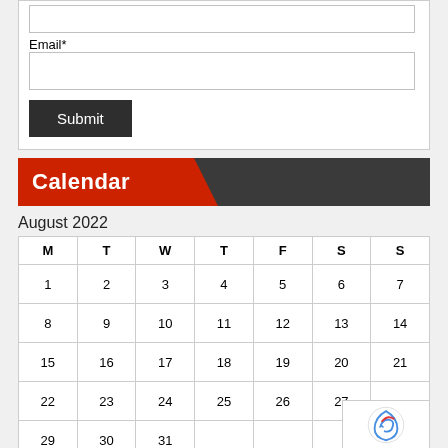[Figure (screenshot): Text input box (top, partially visible)]
Email*
[Figure (screenshot): Email input text field]
Submit
Calendar
August 2022
| M | T | W | T | F | S | S |
| --- | --- | --- | --- | --- | --- | --- |
| 1 | 2 | 3 | 4 | 5 | 6 | 7 |
| 8 | 9 | 10 | 11 | 12 | 13 | 14 |
| 15 | 16 | 17 | 18 | 19 | 20 | 21 |
| 22 | 23 | 24 | 25 | 26 | 27 |  |
| 29 | 30 | 31 |  |  |  |  |